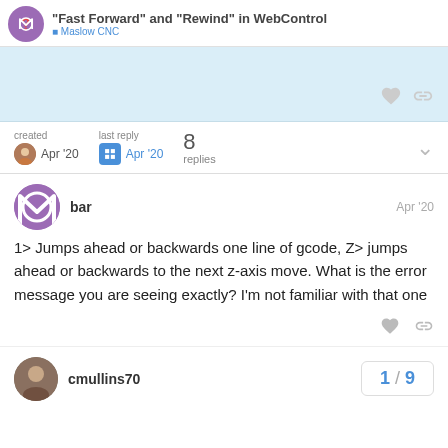"Fast Forward" and "Rewind" in WebControl
created Apr '20   last reply Apr '20   8 replies
bar   Apr '20
1> Jumps ahead or backwards one line of gcode, Z> jumps ahead or backwards to the next z-axis move. What is the error message you are seeing exactly? I'm not familiar with that one
cmullins70   1 / 9